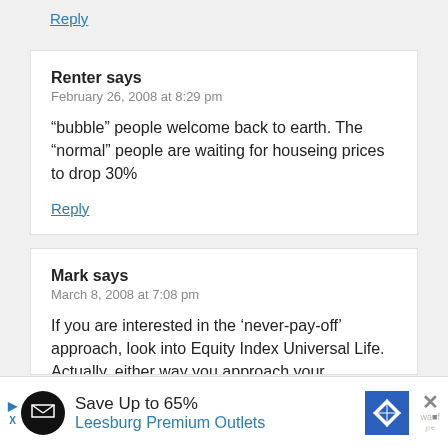Reply
Renter says
February 26, 2008 at 8:29 pm
“bubble” people welcome back to earth. The “normal” people are waiting for houseing prices to drop 30%
Reply
Mark says
March 8, 2008 at 7:08 pm
If you are interested in the ‘never-pay-off’ approach, look into Equity Index Universal Life. Actually, either way you approach your
Save Up to 65% Leesburg Premium Outlets